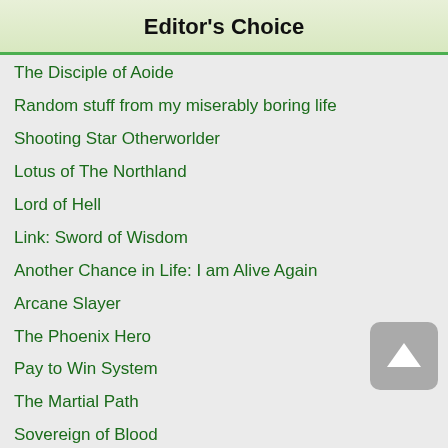Editor's Choice
The Disciple of Aoide
Random stuff from my miserably boring life
Shooting Star Otherworlder
Lotus of The Northland
Lord of Hell
Link: Sword of Wisdom
Another Chance in Life: I am Alive Again
Arcane Slayer
The Phoenix Hero
Pay to Win System
The Martial Path
Sovereign of Blood
I Didn't Even Want to Live, But God Forced Me to R…
Law of Creation